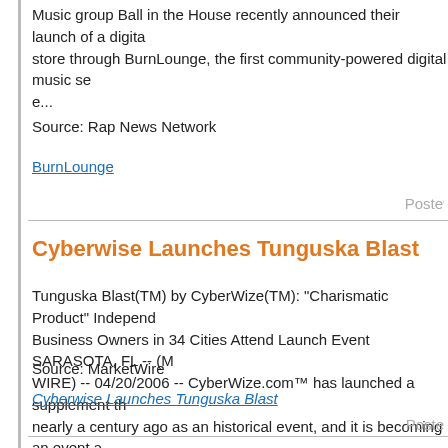Music group Ball in the House recently announced their launch of a digital store through BurnLounge, the first community-powered digital music se... e...
Source: Rap News Network
BurnLounge
Poste...
Cyberwise Launches Tunguska Blast
Tunguska Blast(TM) by CyberWize(TM): "Charismatic Product" Business Owners in 34 Cities Attend Launch Event SARASOTA, FL -- (M WIRE) -- 04/20/2006 -- CyberWize.com™ has launched a supplement th nearly a century ago as an historical event, and it is becoming an event a
Source: MarketWire
Cyberwise Launches Tunguska Blast
Poste...
Seasilver Inks Consulting Agreement
Online Marketing Group [OMG] Inks Consulting Agreement With Seasilve Inc. Online Marketing Group [OMG, a Web development and direct...